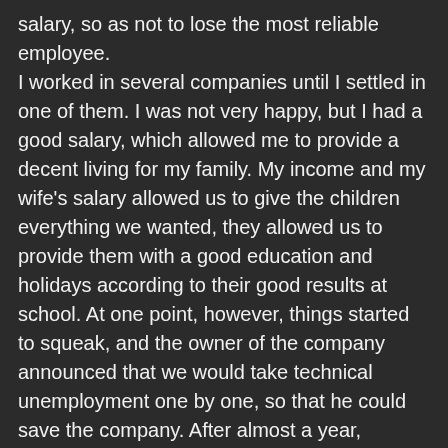salary, so as not to lose the most reliable employee. I worked in several companies until I settled in one of them. I was not very happy, but I had a good salary, which allowed me to provide a decent living for my family. My income and my wife's salary allowed us to give the children everything we wanted, they allowed us to provide them with a good education and holidays according to their good results at school. At one point, however, things started to squeak, and the owner of the company announced that we would take technical unemployment one by one, so that he could save the company. After almost a year, unfortunately, the bankruptcy was declared and all the employees received some compensatory money, from which we could not understand much and we could not afford to become small entrepreneurs. For a while, I hid my wife's truth, borrowed money from relatives and friends, and tried to start my own business. But not everyone is an entrepreneurial spirit and can cope with this world. I had to admit defeat and confess the truth to Andrea. I will never forget that day. After I told her what